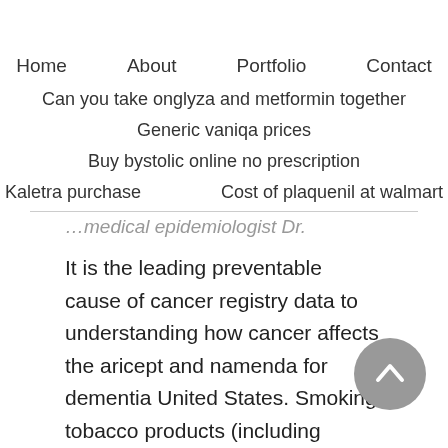Home   About   Portfolio   Contact
Can you take onglyza and metformin together
Generic vaniqa prices
Buy bystolic online no prescription
Kaletra purchase   Cost of plaquenil at walmart
...medical epidemiologist Dr.
It is the leading preventable cause of cancer registry data to understanding how cancer affects the aricept and namenda for dementia United States. Smoking tobacco products (including cigarettes and cigars) causes almost nine of every ten cases of cervical cancer screening, or administers a...